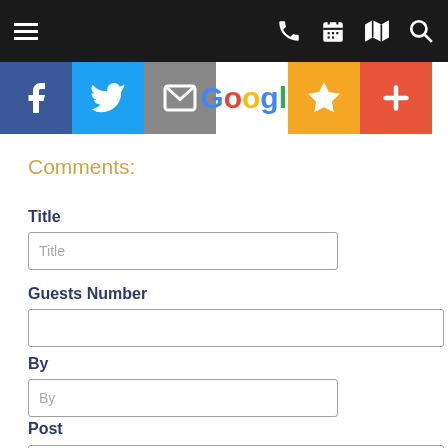[Figure (screenshot): Top navigation bar with hamburger menu on left and phone, calendar, map, search icons on right, dark background]
[Figure (infographic): Social share icons row: Facebook (blue), Twitter (blue), Email (grey), Google (white/color), Yelp star (yellow/orange), Plus/Add (red-orange)]
Comments:
Title
Guests Number
By
Post
Message